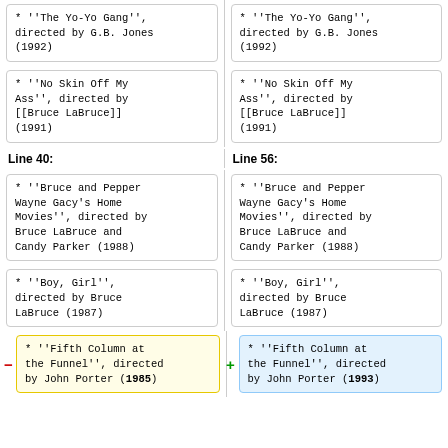* ''The Yo-Yo Gang'', directed by G.B. Jones (1992)
* ''The Yo-Yo Gang'', directed by G.B. Jones (1992)
* ''No Skin Off My Ass'', directed by [[Bruce LaBruce]] (1991)
* ''No Skin Off My Ass'', directed by [[Bruce LaBruce]] (1991)
Line 40:
Line 56:
* ''Bruce and Pepper Wayne Gacy's Home Movies'', directed by Bruce LaBruce and Candy Parker (1988)
* ''Bruce and Pepper Wayne Gacy's Home Movies'', directed by Bruce LaBruce and Candy Parker (1988)
* ''Boy, Girl'', directed by Bruce LaBruce (1987)
* ''Boy, Girl'', directed by Bruce LaBruce (1987)
* ''Fifth Column at the Funnel'', directed by John Porter (1985)
* ''Fifth Column at the Funnel'', directed by John Porter (1993)